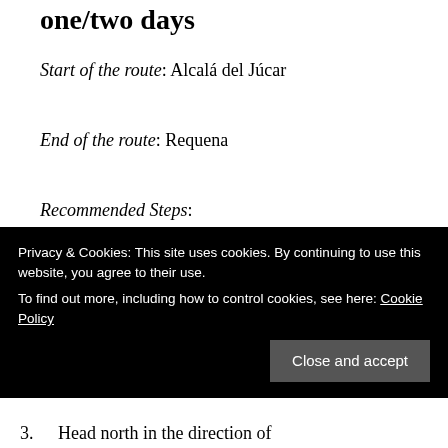one/two days
Start of the route: Alcalá del Júcar
End of the route: Requena
Recommended Steps:
Enjoy the delirious beauty of Alcalá del Júcar: take a drink at the Cuevas de Masago cave bar and have lunch/dinner and wine
Head north in the direction of
Privacy & Cookies: This site uses cookies. By continuing to use this website, you agree to their use. To find out more, including how to control cookies, see here: Cookie Policy